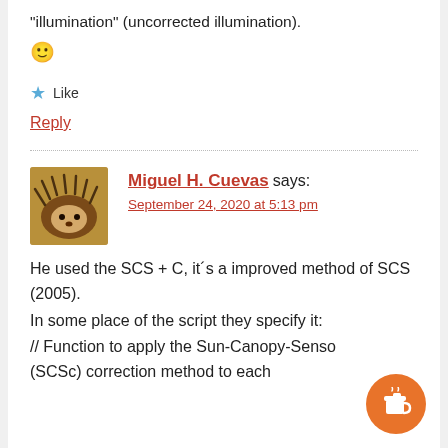“illumination” (uncorrected illumination).
🙂
★ Like
Reply
Miguel H. Cuevas says:
September 24, 2020 at 5:13 pm
He used the SCS + C, it´s a improved method of SCS (2005).
In some place of the script they specify it:
// Function to apply the Sun-Canopy-Sensor (SCSc) correction method to each